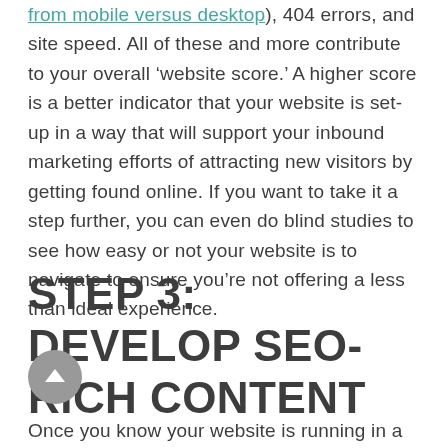from mobile versus desktop), 404 errors, and site speed. All of these and more contribute to your overall ‘website score.’ A higher score is a better indicator that your website is set-up in a way that will support your inbound marketing efforts of attracting new visitors by getting found online. If you want to take it a step further, you can even do blind studies to see how easy or not your website is to navigate to ensure you’re not offering a less than ideal experience.
STEP 3: DEVELOP SEO-RICH CONTENT
Once you know your website is running in a